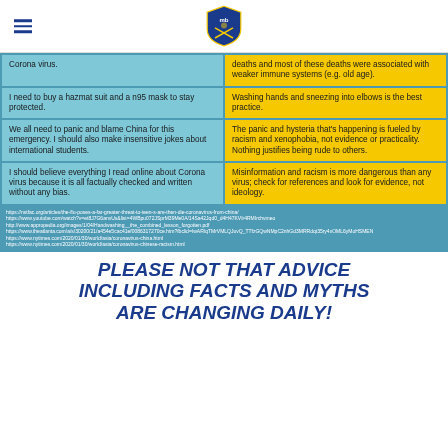[Logo shield] [Hamburger menu]
| Myth | Fact |
| --- | --- |
| Corona virus. | deaths and most of these deaths were associated with weaker immune systems (e.g. old age). |
| I need to buy a hazmat suit and a n95 mask to stay protected. | Washing hands and sneezing into elbows is the best practice. |
| We all need to panic and blame China for this emergency. I should also make insensitive jokes about international students. | The panic and hysteria that's happening is fueled by racism and xenophobia, not evidence or practicality. Nothing justifies being rude to others. |
| I should believe everything I read online about Corona virus because it is all factually checked and written without any bias. | Misinformation and racism is more dangerous than any virus; check for references and look for evidence, not ideology. |
https://nstfac.org/articles/the-flu-poses-a-far-greater-threat-to-teen-s-are-then-die-coronavirus-from-china/
https://www.youtube.com/watch?v=et8J7G6anvUs&list=4WBpu072JSprM39Me0A/14Sa42Jqd0_d4H47KVIr4RMIrchvmeo
http://www.appropedia.org/images/1/04/Handwashing__the_bombined_lesson_forgotten.pdf
https://www.theatlanta.com/a/s/30200/21/a454e5cac41ef0086317270ce.htm?fbclid=IwARIqTMrVMLQJuvQ_TTfzGQwNMpC2nhGd3MRRdqt35ry4xOML6yMoHSMEN
https://www.nytimes.com/2020/01/30/world/asia/coronavirus-china.html
https://www.nytimes.com/2020/01/30/world/asia/coronavirus-chinese-racism.html
PLEASE NOT THAT ADVICE INCLUDING FACTS AND MYTHS ARE CHANGING DAILY!